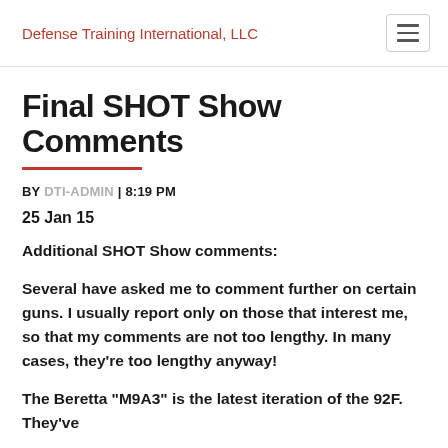Defense Training International, LLC
Final SHOT Show Comments
BY DTI-ADMIN | 8:19 PM
25 Jan 15
Additional SHOT Show comments:
Several have asked me to comment further on certain guns. I usually report only on those that interest me, so that my comments are not too lengthy. In many cases, they’re too lengthy anyway!
The Beretta “M9A3” is the latest iteration of the 92F. They’ve